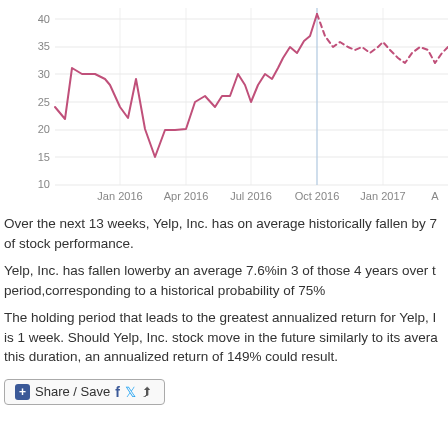[Figure (continuous-plot): Stock price line chart for Yelp, Inc. from approximately Oct 2015 to Apr 2017. Solid pink/red line shows historical price ranging from ~15 to ~40. Dashed portion after Oct 2016 shows projected/future period. Y-axis labeled 10, 15, 20, 25, 30, 35, 40. X-axis shows Jan 2016, Apr 2016, Jul 2016, Oct 2016, Jan 2017, Apr (partial). Vertical light blue gridline at Oct 2016 divides solid and dashed segments.]
Over the next 13 weeks, Yelp, Inc. has on average historically fallen by 7 of stock performance.
Yelp, Inc. has fallen lowerby an average 7.6%in 3 of those 4 years over t period,corresponding to a historical probability of 75%
The holding period that leads to the greatest annualized return for Yelp, I is 1 week. Should Yelp, Inc. stock move in the future similarly to its avera this duration, an annualized return of 149% could result.
[Figure (other): Share / Save button with Facebook, Twitter, and share icons]